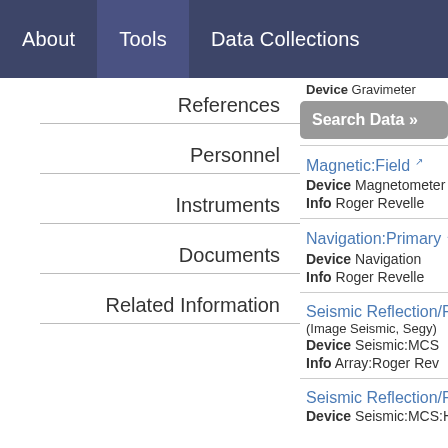About  Tools  Data Collections
References
Personnel
Instruments
Documents
Related Information
Device Gravimeter
Search Data »
Magnetic:Field  Device Magnetometer  Info Roger Revelle
Navigation:Primary  Device Navigation  Info Roger Revelle
Seismic Reflection/Ref (Image Seismic, Segy)  Device Seismic:MCS  Info Array:Roger Rev
Seismic Reflection/Ref  Device Seismic:MCS:H